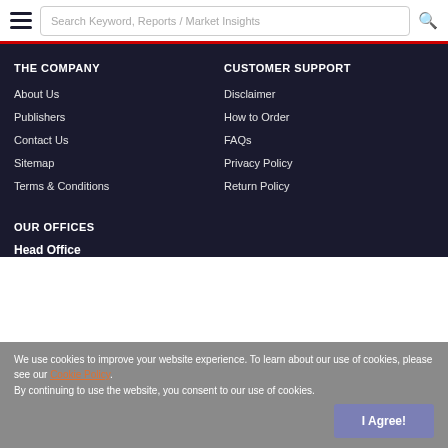Search Keyword, Reports / Market Insights
THE COMPANY
About Us
Publishers
Contact Us
Sitemap
Terms & Conditions
CUSTOMER SUPPORT
Disclaimer
How to Order
FAQs
Privacy Policy
Return Policy
OUR OFFICES
Head Office
We use cookies to improve your website experience. To learn about our use of cookies, please see our Cookie Policy. By continuing to use the website, you consent to our use of cookies.